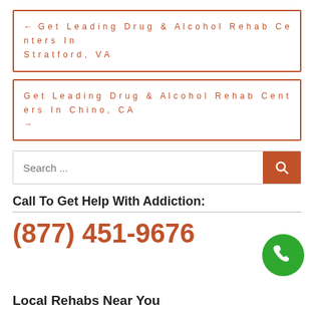← Get Leading Drug & Alcohol Rehab Centers In Stratford, VA
Get Leading Drug & Alcohol Rehab Centers In Chino, CA →
Search ...
Call To Get Help With Addiction:
(877) 451-9676
[Figure (illustration): Green circular phone call button icon]
Local Rehabs Near You